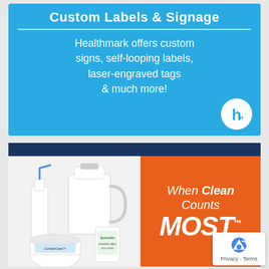Custom Labels & Signage
Healthmark offers custom signs, self-looping labels, laser-engraved tags & much more!
[Figure (infographic): Orange block ad with product cleaning supplies photo on left; text 'When Clean Counts MOST™' on orange background on right; dark navy top stripe]
[Figure (other): reCAPTCHA badge with Privacy and Terms links]